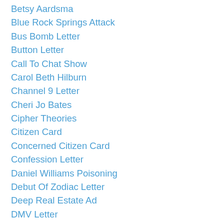Betsy Aardsma
Blue Rock Springs Attack
Bus Bomb Letter
Button Letter
Call To Chat Show
Carol Beth Hilburn
Channel 9 Letter
Cheri Jo Bates
Cipher Theories
Citizen Card
Concerned Citizen Card
Confession Letter
Daniel Williams Poisoning
Debut Of Zodiac Letter
Deep Real Estate Ad
DMV Letter
Domingos/Edwards Murders
Donald Lee Bujok
Donna Lass
Dragon Card
Earl Van Best Jr